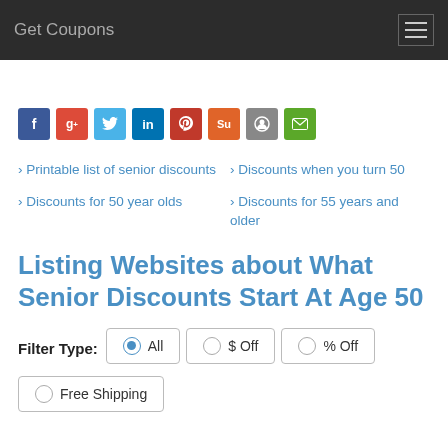Get Coupons
Printable list of senior discounts
Discounts when you turn 50
Discounts for 50 year olds
Discounts for 55 years and older
Listing Websites about What Senior Discounts Start At Age 50
Filter Type: All  $ Off  % Off  Free Shipping